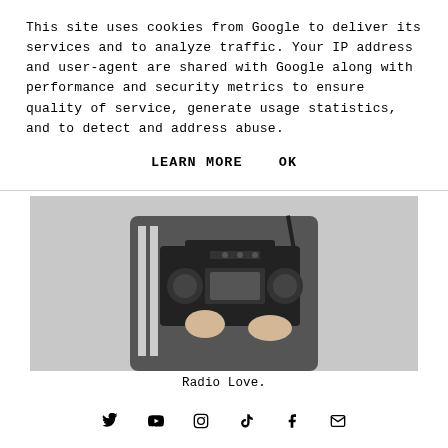This site uses cookies from Google to deliver its services and to analyze traffic. Your IP address and user-agent are shared with Google along with performance and security metrics to ensure quality of service, generate usage statistics, and to detect and address abuse.
LEARN MORE   OK
[Figure (photo): Black and white photo of a person holding a boombox radio against their body, wearing a tracksuit with stripes.]
Radio Love.
[Figure (infographic): Social media icons: Twitter, YouTube, Instagram, TikTok, Facebook, Email]